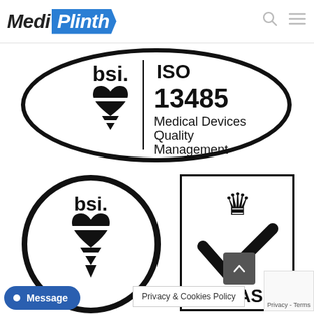[Figure (logo): Medi Plinth logo - 'Medi' in bold italic black and 'Plinth' in white on blue arrow-shaped background]
[Figure (logo): BSI ISO 13485 Medical Devices Quality Management certification badge - oval shape with BSI heart logo on left and ISO 13485 Medical Devices Quality Management text on right]
[Figure (logo): BSI certification mark - circular logo with bsi. text and heart/triangle symbol]
[Figure (logo): UKAS accreditation mark - rectangular badge with crown and checkmark logo, partial text visible: UKAS and partial text]
Message
Privacy & Cookies Policy